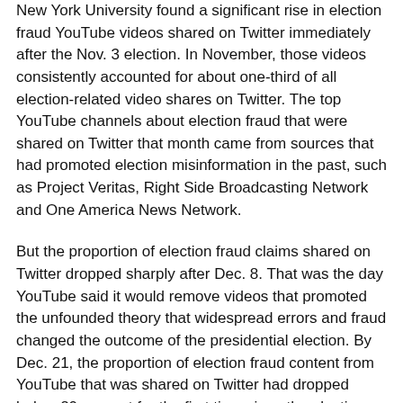New York University found a significant rise in election fraud YouTube videos shared on Twitter immediately after the Nov. 3 election. In November, those videos consistently accounted for about one-third of all election-related video shares on Twitter. The top YouTube channels about election fraud that were shared on Twitter that month came from sources that had promoted election misinformation in the past, such as Project Veritas, Right Side Broadcasting Network and One America News Network.
But the proportion of election fraud claims shared on Twitter dropped sharply after Dec. 8. That was the day YouTube said it would remove videos that promoted the unfounded theory that widespread errors and fraud changed the outcome of the presidential election. By Dec. 21, the proportion of election fraud content from YouTube that was shared on Twitter had dropped below 20 percent for the first time since the election.